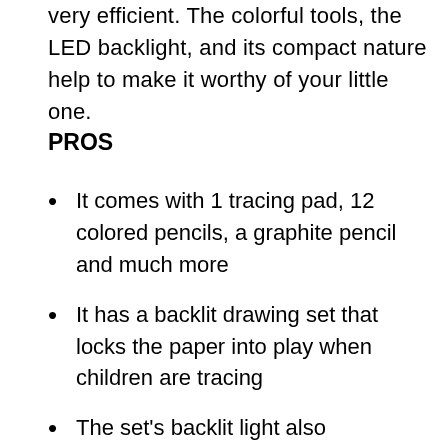very efficient. The colorful tools, the LED backlight, and its compact nature help to make it worthy of your little one.
PROS
It comes with 1 tracing pad, 12 colored pencils, a graphite pencil and much more
It has a backlit drawing set that locks the paper into play when children are tracing
The set's backlit light also illuminates the drawing